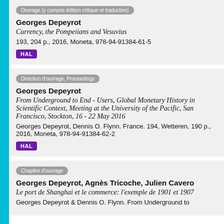Ouvrage (y compris édition critique et traduction)
Georges Depeyrot
Currency, the Pompeiians and Vesuvius
193, 204 p., 2016, Moneta, 978-94-91384-61-5
HAL
Direction d'ouvrage, Proceedings
Georges Depeyrot
From Underground to End - Users, Global Monetary History in Scientific Context, Meeting at the University of the Pacific, San Francisco, Stockton, 16 - 22 May 2016
Georges Depeyrot, Dennis O. Flynn. France. 194, Wetteren, 190 p., 2016, Moneta, 978-94-91384-62-2
HAL
Chapitre d'ouvrage
Georges Depeyrot, Agnès Tricoche, Julien Cavero
Le port de Shanghai et le commerce: l'exemple de 1901 et 1907
Georges Depeyrot & Dennis O. Flynn. From Underground to